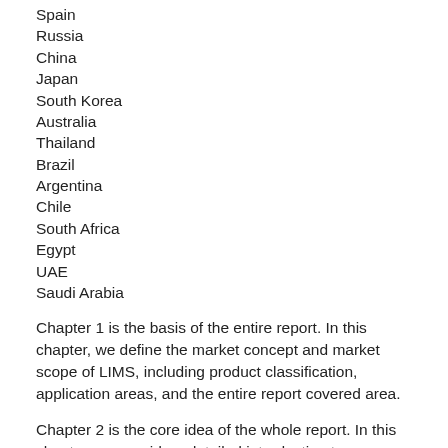Spain
Russia
China
Japan
South Korea
Australia
Thailand
Brazil
Argentina
Chile
South Africa
Egypt
UAE
Saudi Arabia
Chapter 1 is the basis of the entire report. In this chapter, we define the market concept and market scope of LIMS, including product classification, application areas, and the entire report covered area.
Chapter 2 is the core idea of the whole report. In this chapter, we provide a detailed introduction to our research methods and data sources.
Chapter 3 focuses on...